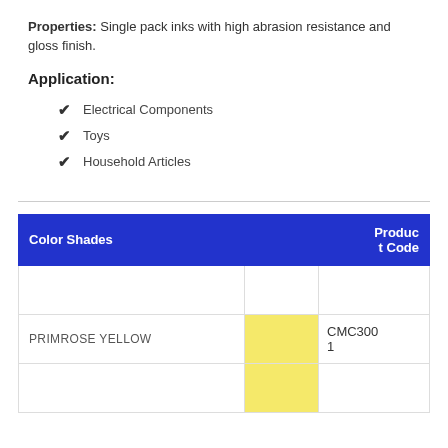Properties: Single pack inks with high abrasion resistance and gloss finish.
Application:
Electrical Components
Toys
Household Articles
| Color Shades |  | Product Code |
| --- | --- | --- |
|  |  |  |
| PRIMROSE YELLOW | (yellow swatch) | CMC300 1 |
|  | (yellow swatch) |  |